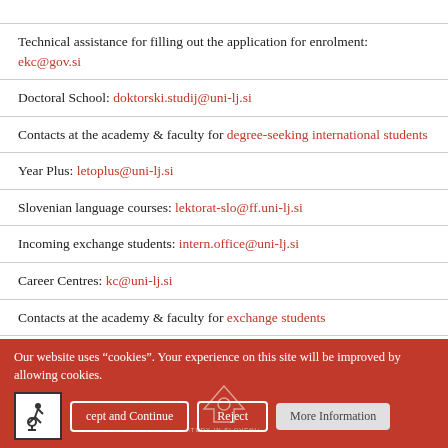Technical assistance for filling out the application for enrolment: ekc@gov.si
Doctoral School: doktorski.studij@uni-lj.si
Contacts at the academy & faculty for degree-seeking international students
Year Plus: letoplus@uni-lj.si
Slovenian language courses: lektorat-slo@ff.uni-lj.si
Incoming exchange students: intern.office@uni-lj.si
Career Centres: kc@uni-lj.si
Contacts at the academy & faculty for exchange students
Sports activities: sport@uni-lj.si
Our website uses “cookies”. Your experience on this site will be improved by allowing cookies.